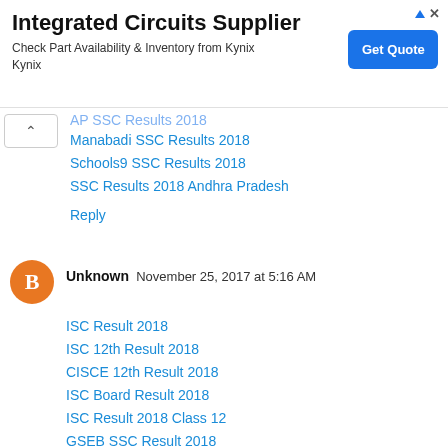[Figure (infographic): Advertisement banner for Integrated Circuits Supplier (Kynix). Title: 'Integrated Circuits Supplier'. Description: 'Check Part Availability & Inventory from Kynix Kynix'. Blue 'Get Quote' button on right.]
Manabadi SSC Results 2018
Schools9 SSC Results 2018
SSC Results 2018 Andhra Pradesh
Reply
Unknown  November 25, 2017 at 5:16 AM
ISC Result 2018
ISC 12th Result 2018
CISCE 12th Result 2018
ISC Board Result 2018
ISC Result 2018 Class 12
GSEB SSC Result 2018
GSEB 10th Result 2018
Gujarat SSC Result 2018
Gujarat Board 10th Result 2018